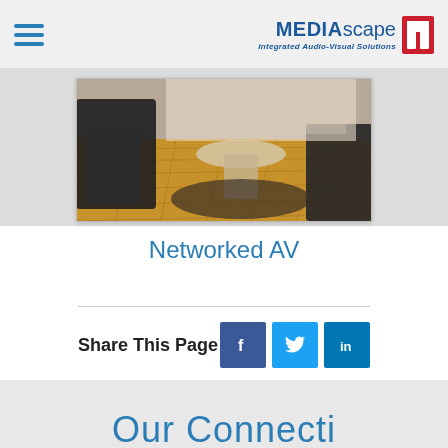MEDIAscape — Integrated Audio-Visual Solutions
[Figure (photo): Partial photo of a room with hardwood floor, dark armchairs and a round table visible]
Networked AV
Share This Page
[Figure (infographic): Social share buttons: Facebook (f), Twitter (bird), LinkedIn (in)]